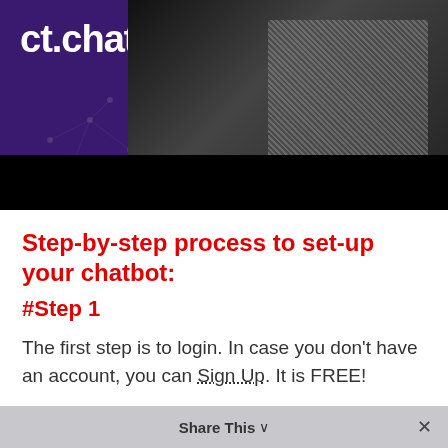[Figure (photo): Screenshot of a presentation or video thumbnail with 'ct.chat' text on a purple background on the left side, and a dark/grayscale image of a person in a suit on the right side, with a black bar at the bottom.]
Step-by-step process to set-up your chatbot:
#Step 1
The first step is to login. In case you don't have an account, you can Sign Up. It is FREE!
Share This ✓  ×